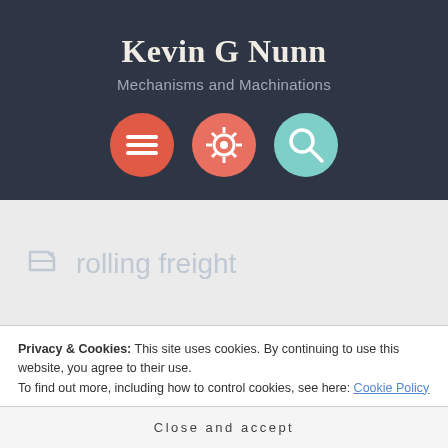Kevin G Nunn
Mechanisms and Machinations
[Figure (infographic): Three circular navigation icons: a red hamburger menu icon, a salmon-colored gear/settings icon, and a teal magnifying glass/search icon]
rolling freight
Privacy & Cookies: This site uses cookies. By continuing to use this website, you agree to their use.
To find out more, including how to control cookies, see here: Cookie Policy
Close and accept